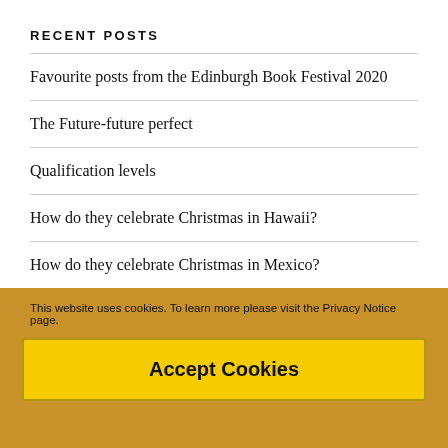RECENT POSTS
Favourite posts from the Edinburgh Book Festival 2020
The Future-future perfect
Qualification levels
How do they celebrate Christmas in Hawaii?
How do they celebrate Christmas in Mexico?
WEBSITES I LIKE
This website uses cookies. To learn more please visit the Privacy Notice page.
Accept Cookies